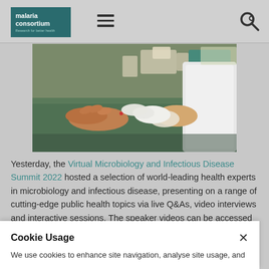malaria consortium | navigation menu | search
[Figure (photo): Medical professional in white coat wearing white gloves performing a finger-prick blood test on a patient's hand, with medical supplies visible in the background on a table with green covering.]
Yesterday, the Virtual Microbiology and Infectious Disease Summit 2022 hosted a selection of world-leading health experts in microbiology and infectious disease, presenting on a range of cutting-edge public health topics via live Q&As, video interviews and interactive sessions. The speaker videos can be accessed through
Cookie Usage
We use cookies to enhance site navigation, analyse site usage, and